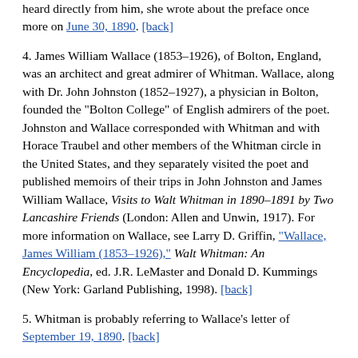heard directly from him, she wrote about the preface once more on June 30, 1890. [back]
4. James William Wallace (1853–1926), of Bolton, England, was an architect and great admirer of Whitman. Wallace, along with Dr. John Johnston (1852–1927), a physician in Bolton, founded the "Bolton College" of English admirers of the poet. Johnston and Wallace corresponded with Whitman and with Horace Traubel and other members of the Whitman circle in the United States, and they separately visited the poet and published memoirs of their trips in John Johnston and James William Wallace, Visits to Walt Whitman in 1890–1891 by Two Lancashire Friends (London: Allen and Unwin, 1917). For more information on Wallace, see Larry D. Griffin, "Wallace, James William (1853–1926)," Walt Whitman: An Encyclopedia, ed. J.R. LeMaster and Donald D. Kummings (New York: Garland Publishing, 1998). [back]
5. Whitman is probably referring to Wallace's letter of September 19, 1890. [back]
6. Thomas Biggs Harned (1851–1921) was one of